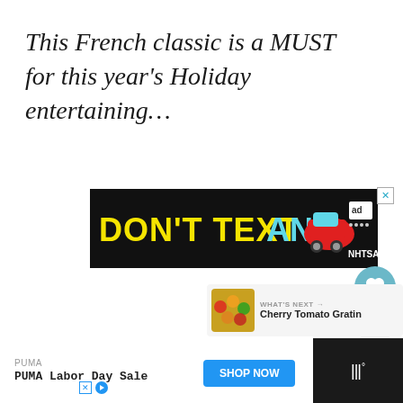This French classic is a MUST for this year's Holiday entertaining…
[Figure (screenshot): Advertisement banner: black background with yellow 'DON'T TEXT' and cyan 'AND' text, red car emoji, 'ad' badge icon, NHTSA logo. Close button (X) at top right.]
[Figure (screenshot): Heart/like button (teal circle with heart icon), count '110', share button (gray circle with share icon)]
[Figure (screenshot): WHAT'S NEXT arrow label with Cherry Tomato Gratin thumbnail and text]
[Figure (screenshot): Bottom advertisement bar: PUMA brand, 'PUMA Labor Day Sale' text, 'SHOP NOW' blue button, X and play ad icons, weather app icon on dark background]